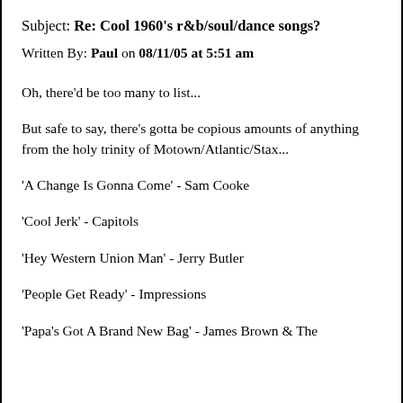Subject: Re: Cool 1960's r&b/soul/dance songs?
Written By: Paul on 08/11/05 at 5:51 am
Oh, there'd be too many to list...
But safe to say, there's gotta be copious amounts of anything from the holy trinity of Motown/Atlantic/Stax...
'A Change Is Gonna Come' - Sam Cooke
'Cool Jerk' - Capitols
'Hey Western Union Man' - Jerry Butler
'People Get Ready' - Impressions
'Papa's Got A Brand New Bag' - James Brown & The